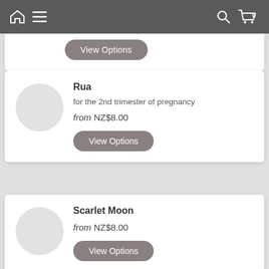Home menu search cart 0
[Figure (screenshot): Partial top of a product card with a View Options button]
Rua
for the 2nd trimester of pregnancy
from NZ$8.00
View Options
Scarlet Moon
from NZ$8.00
View Options